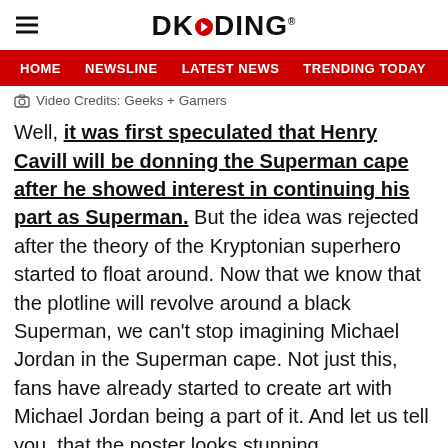DKODING
HOME | NEWSLINE | LATEST NEWS | TRENDING TODAY | ENT
Video Credits: Geeks + Gamers
Well, it was first speculated that Henry Cavill will be donning the Superman cape after he showed interest in continuing his part as Superman. But the idea was rejected after the theory of the Kryptonian superhero started to float around. Now that we know that the plotline will revolve around a black Superman, we can't stop imagining Michael Jordan in the Superman cape. Not just this, fans have already started to create art with Michael Jordan being a part of it. And let us tell you, that the poster looks stunning.